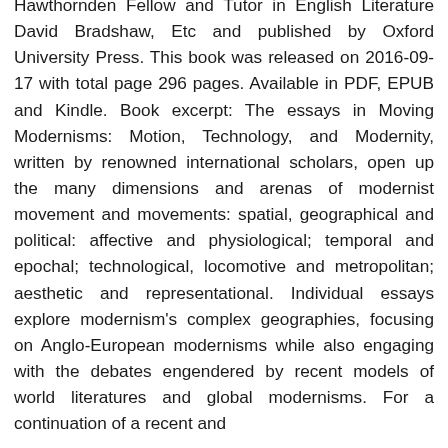Hawthornden Fellow and Tutor in English Literature David Bradshaw, Etc and published by Oxford University Press. This book was released on 2016-09-17 with total page 296 pages. Available in PDF, EPUB and Kindle. Book excerpt: The essays in Moving Modernisms: Motion, Technology, and Modernity, written by renowned international scholars, open up the many dimensions and arenas of modernist movement and movements: spatial, geographical and political: affective and physiological; temporal and epochal; technological, locomotive and metropolitan; aesthetic and representational. Individual essays explore modernism's complex geographies, focusing on Anglo-European modernisms while also engaging with the debates engendered by recent models of world literatures and global modernisms. For a continuation of a recent and